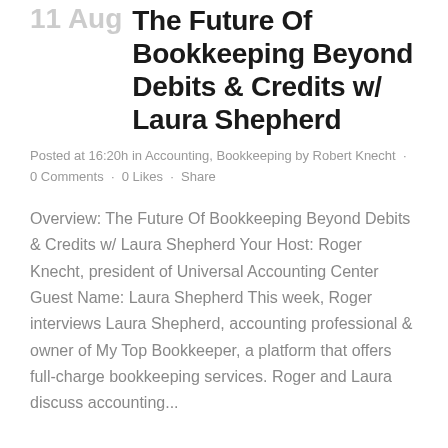The Future Of Bookkeeping Beyond Debits & Credits w/ Laura Shepherd
Posted at 16:20h in Accounting, Bookkeeping by Robert Knecht · 0 Comments · 0 Likes · Share
Overview: The Future Of Bookkeeping Beyond Debits & Credits w/ Laura Shepherd Your Host: Roger Knecht, president of Universal Accounting Center Guest Name: Laura Shepherd This week, Roger interviews Laura Shepherd, accounting professional & owner of My Top Bookkeeper, a platform that offers full-charge bookkeeping services. Roger and Laura discuss accounting...
READ MORE